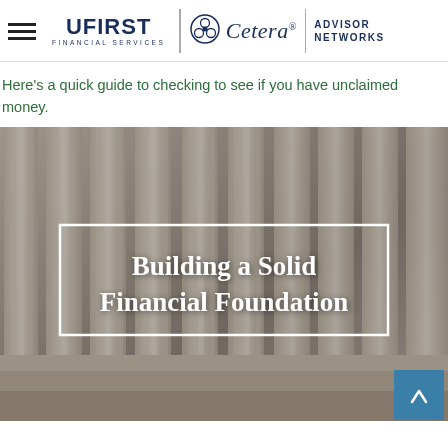UFIRST FINANCIAL SERVICES | Cetera® | ADVISOR NETWORKS
Here's a quick guide to checking to see if you have unclaimed money.
[Figure (photo): Background image of classical stone columns with a white-bordered overlay box containing bold white serif text reading 'Building a Solid Financial Foundation'. A teal scroll-to-top button with an up chevron is visible in the bottom-right corner.]